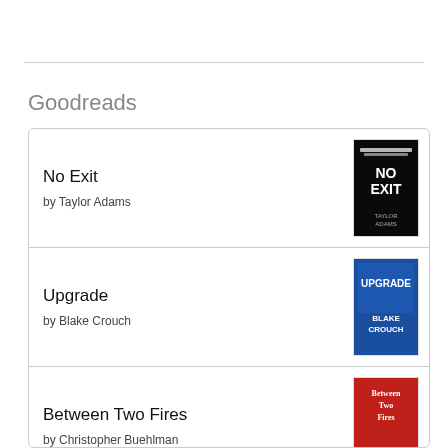Goodreads
No Exit
by Taylor Adams
Upgrade
by Blake Crouch
Between Two Fires
by Christopher Buehlman
Soulsmith
by Will Wight